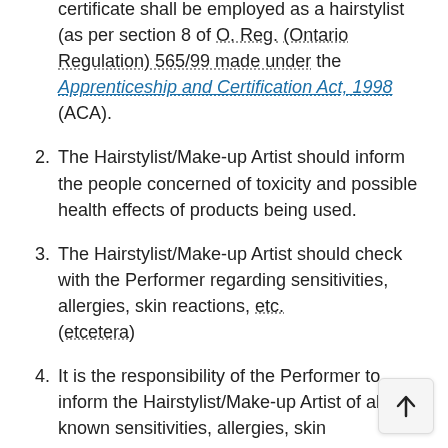holder of their provision. No such certificate shall be employed as a hairstylist (as per section 8 of O. Reg. (Ontario Regulation) 565/99 made under the Apprenticeship and Certification Act, 1998 (ACA).
2. The Hairstylist/Make-up Artist should inform the people concerned of toxicity and possible health effects of products being used.
3. The Hairstylist/Make-up Artist should check with the Performer regarding sensitivities, allergies, skin reactions, etc. (etcetera)
4. It is the responsibility of the Performer to inform the Hairstylist/Make-up Artist of all known sensitivities, allergies, skin